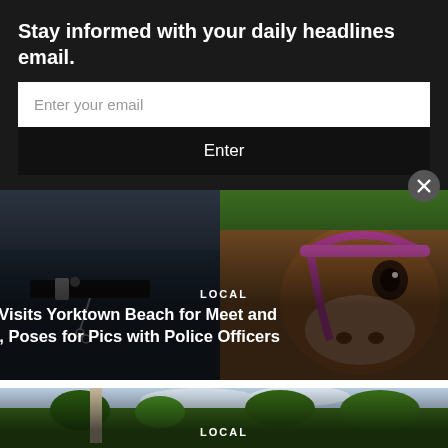Stay informed with your daily headlines email.
Enter your email
Enter
[Figure (photo): News card photo showing a police officer and a cow with a pink halter, with text overlay reading LOCAL and headline: Cow Visits Yorktown Beach for Meet and Greet, Poses for Pics with Police Officers]
[Figure (photo): Aerial photo of a park with a tall stone obelisk monument surrounded by green trees, with partial LOCAL category label visible at the bottom]